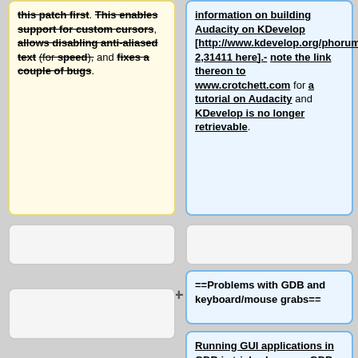this patch first. This enables support for custom cursors, allows disabling anti-aliased text (for speed), and fixes a couple of bugs.
information on building Audacity on KDevelop [http://www.kdevelop.org/phorum5/read.php?2,31411 here].- note the link thereon to www.crotchett.com for a tutorial on Audacity and KDevelop is no longer retrievable.
==Problems with GDB and keyboard/mouse grabs==
Running GUI applications in GDB is tricky, because GDB doesn't understand keyboard/mouse grabbing. In